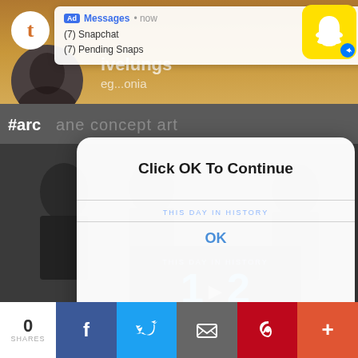[Figure (screenshot): Tumblr app screenshot with orange/tan header showing Tumblr logo, user profile, username and location partially visible behind a Snapchat notification banner overlay]
Ad Messages • now
(7) Snapchat
(7) Pending Snaps
[Figure (screenshot): Background showing #arcane concept art tag and dark photo collage of people with 'THIS DAY IN HISTORY' widget showing date 12 AUGUST]
[Figure (screenshot): Modal dialog overlay with white rounded rectangle containing text 'Click OK To Continue', 'THIS DAY IN HISTORY', and 'OK' button in blue]
Click OK To Continue
THIS DAY IN HISTORY
OK
0
SHARES
[Figure (screenshot): Bottom share bar with 0 SHARES count and social media buttons: Facebook, Twitter, Email, Pinterest, and more (+)]